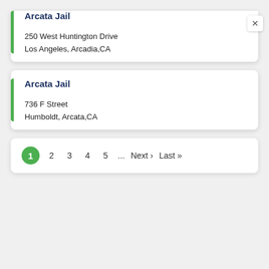Arcata Jail (partial, top card)
250 West Huntington Drive
Los Angeles, Arcadia,CA
Arcata Jail
736 F Street
Humboldt, Arcata,CA
1  2  3  4  5  ...  Next ›  Last »